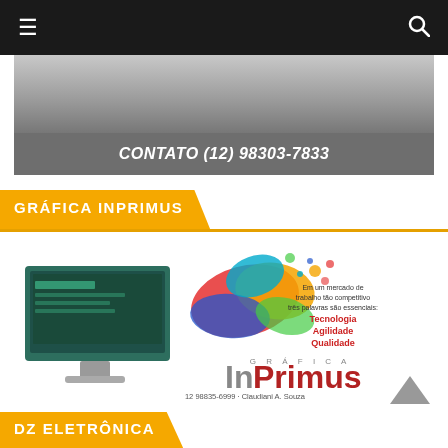Navigation bar with hamburger menu and search icon
[Figure (photo): Contact banner image showing 'CONTATO (12) 98303-7833' in white bold italic text on a dark grey/silver background]
GRÁFICA INPRIMUS
[Figure (illustration): Gráfica Inprimus advertisement with a computer monitor, colorful ink splash, text reading 'Em um mercado de trabalho tão competitivo três palavras são essenciais: Tecnologia Agilidade Qualidade' and logo 'InPrimus GRÁFICA' with contact '12 98835-6999 - Claudiani A. Souza']
DZ ELETRÔNICA